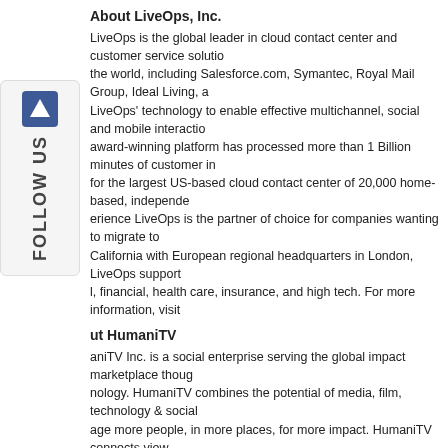About LiveOps, Inc.
LiveOps is the global leader in cloud contact center and customer service solutions for the world, including Salesforce.com, Symantec, Royal Mail Group, Ideal Living, and more use LiveOps' technology to enable effective multichannel, social and mobile interactions. LiveOps' award-winning platform has processed more than 1 Billion minutes of customer interactions and is home for the largest US-based cloud contact center of 20,000 home-based, independent agents. With that experience LiveOps is the partner of choice for companies wanting to migrate to the cloud. Based in California with European regional headquarters in London, LiveOps supports industries including retail, financial, health care, insurance, and high tech. For more information, visit
About HumaniTV
HumaniTV Inc. is a social enterprise serving the global impact marketplace though media and technology. HumaniTV combines the potential of media, film, technology & social enterprise to engage more people, in more places, for more impact. HumaniTV connects viewers with the deserving and served of our world to make it simple and fun to get connected, learn and serve, and be a part of sustainable solutions – Join the journey today, at www.humani.tv.
HumaniTV Inc. is a privately held company based in Austin, Texas.
For more information, visit www.humani.tv or call (512) 600-0880.
###
Media Contacts:
Ravi Rao
HumaniTV, Inc.